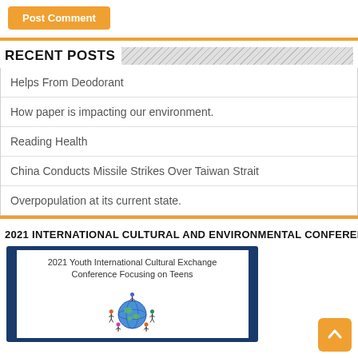Post Comment
RECENT POSTS
Helps From Deodorant
How paper is impacting our environment.
Reading Health
China Conducts Missile Strikes Over Taiwan Strait
Overpopulation at its current state.
2021 INTERNATIONAL CULTURAL AND ENVIRONMENTAL CONFERENCE
[Figure (photo): Conference slide image showing '2021 Youth International Cultural Exchange Conference Focusing on Teens' with children holding hands around a globe illustration]